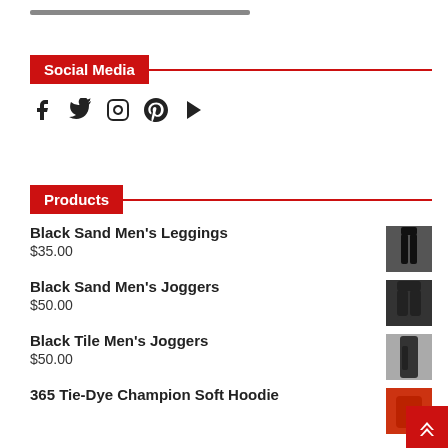Social Media
[Figure (infographic): Social media icons: Facebook, Twitter, Instagram, Pinterest, YouTube]
Products
Black Sand Men's Leggings
$35.00
Black Sand Men's Joggers
$50.00
Black Tile Men's Joggers
$50.00
365 Tie-Dye Champion Soft Hoodie